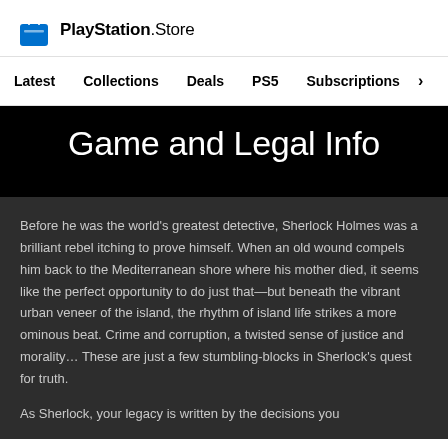PlayStation.Store
Latest   Collections   Deals   PS5   Subscriptions >
Game and Legal Info
Before he was the world's greatest detective, Sherlock Holmes was a brilliant rebel itching to prove himself. When an old wound compels him back to the Mediterranean shore where his mother died, it seems like the perfect opportunity to do just that—but beneath the vibrant urban veneer of the island, the rhythm of island life strikes a more ominous beat. Crime and corruption, a twisted sense of justice and morality… These are just a few stumbling-blocks in Sherlock's quest for truth.
As Sherlock, your legacy is written by the decisions you make in this grounded detective adventure. Depending...